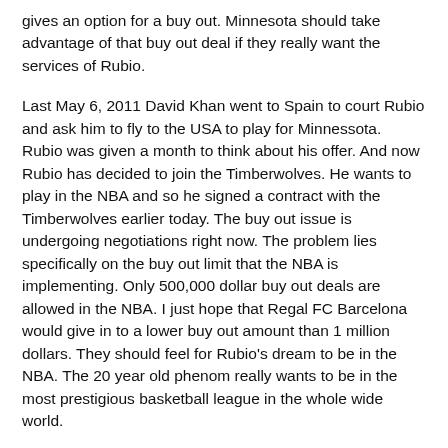gives an option for a buy out. Minnesota should take advantage of that buy out deal if they really want the services of Rubio.
Last May 6, 2011 David Khan went to Spain to court Rubio and ask him to fly to the USA to play for Minnessota. Rubio was given a month to think about his offer. And now Rubio has decided to join the Timberwolves. He wants to play in the NBA and so he signed a contract with the Timberwolves earlier today. The buy out issue is undergoing negotiations right now. The problem lies specifically on the buy out limit that the NBA is implementing. Only 500,000 dollar buy out deals are allowed in the NBA. I just hope that Regal FC Barcelona would give in to a lower buy out amount than 1 million dollars. They should feel for Rubio's dream to be in the NBA. The 20 year old phenom really wants to be in the most prestigious basketball league in the whole wide world.